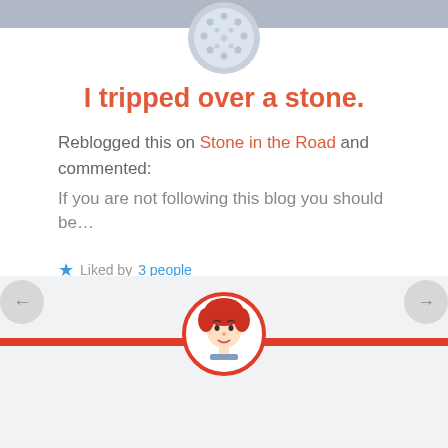I tripped over a stone.
Reblogged this on Stone in the Road and commented:
If you are not following this blog you should be...
Liked by 3 people
REPLY
MAY 13, 2019 AT 6:08 PM